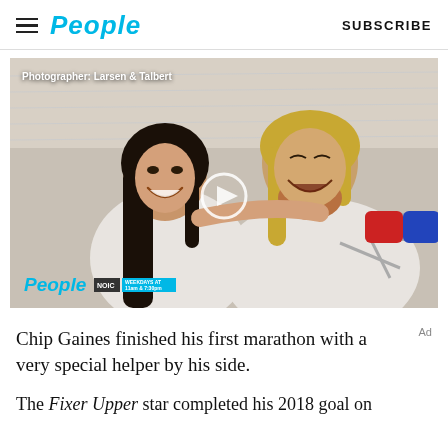People  SUBSCRIBE
[Figure (photo): A smiling woman with long dark hair and a laughing man with blond/reddish hair and beard, both wearing white. The man holds a red and blue paint roller. People logo and NOIC weekdays badge visible at bottom left. Photographer credit: Larsen & Talbert.]
Chip Gaines finished his first marathon with a very special helper by his side.
The Fixer Upper star completed his 2018 goal on